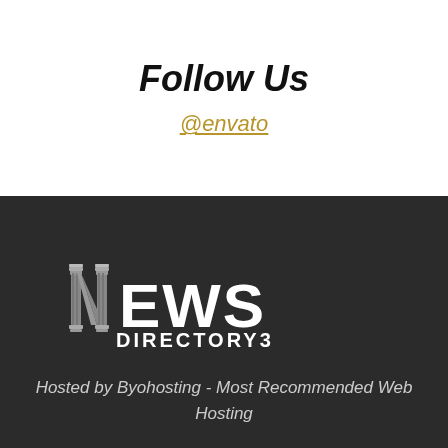Follow Us
@envato
[Figure (logo): News Directory3 logo — stylized 'NEWS' text with column-decorated N letter, below reads 'DIRECTORY3', white text on dark background]
Hosted by Byohosting - Most Recommended Web Hosting